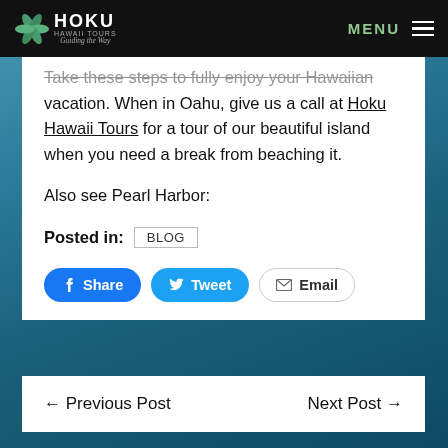HOKU HAWAII TOURS — Guiding the Way | MENU
Take these steps to fully enjoy your Hawaiian vacation. When in Oahu, give us a call at Hoku Hawaii Tours for a tour of our beautiful island when you need a break from beaching it.
Also see Pearl Harbor:
Posted in: BLOG
Share  Tweet  Email
← Previous Post    Next Post →